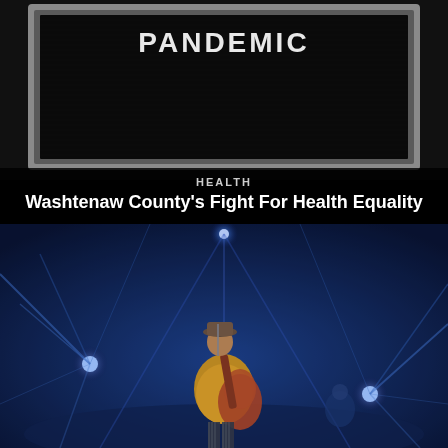[Figure (photo): Black letterboard with silver/gray frame showing the word PANDEMIC in white plastic letters on a black felt background]
HEALTH
Washtenaw County's Fight For Health Equality
[Figure (photo): Concert photo: a musician wearing a hat and yellow shirt playing an acoustic guitar on a darkened stage with blue stage lights radiating beams in the background]